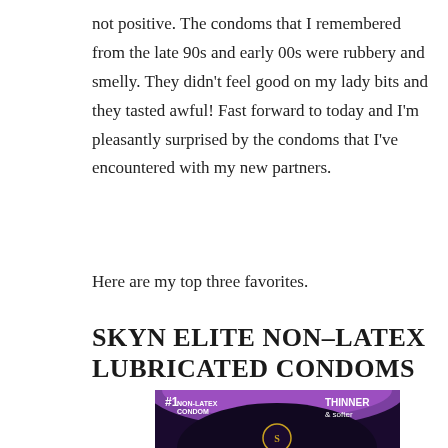not positive. The condoms that I remembered from the late 90s and early 00s were rubbery and smelly. They didn't feel good on my lady bits and they tasted awful! Fast forward to today and I'm pleasantly surprised by the condoms that I've encountered with my new partners.
Here are my top three favorites.
SKYN ELITE NON-LATEX LUBRICATED CONDOMS
[Figure (photo): Product packaging for SKYN Elite Non-Latex condoms. Dark purple and black box with gold SKYN logo. Text reads '#1 NON-LATEX CONDOM' and 'THINNER & softer'.]